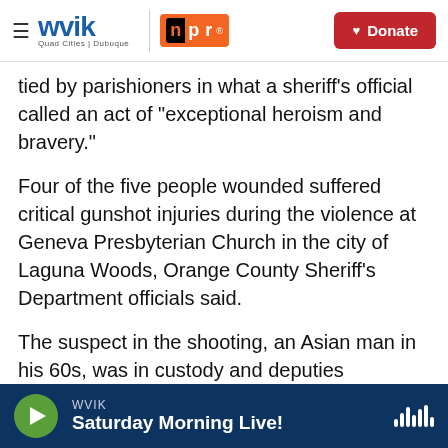WVIK | NPR | Quad Cities | Dubuque | Donate
tied by parishioners in what a sheriff's official called an act of "exceptional heroism and bravery."
Four of the five people wounded suffered critical gunshot injuries during the violence at Geneva Presbyterian Church in the city of Laguna Woods, Orange County Sheriff's Department officials said.
The suspect in the shooting, an Asian man in his 60s, was in custody and deputies recovered two handguns at the scene, Undersheriff Jeff Hallock said. A motive for the shooting wasn't immediately known but investigators don't believe the gunman
WVIK — Saturday Morning Live!